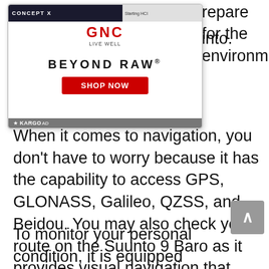[Figure (screenshot): GNC Beyond Raw advertisement overlay with red Shop Now button and Kargo AD label at bottom, plus a partial product image banner at top left]
repare for the environment into.
When it comes to navigation, you don't have to worry because it has the capability to access GPS, GLONASS, Galileo, QZSS, and Beidou. You may also check your route on the Suunto 9 Baro as it provides visual navigation that automatically zooms in/out depending on the shape of your route. You may also retrace your route through the watch's real-time breadcrumb trail function.
To monitor your personal condition, it is equipped with a wrist-based heart rate